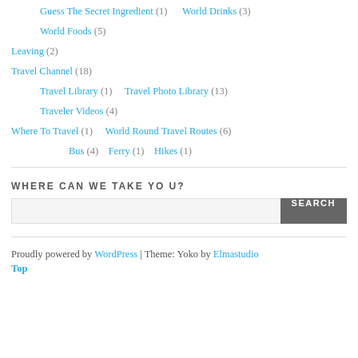Guess The Secret Ingredient (1)   World Drinks (3)
World Foods (5)
Leaving (2)
Travel Channel (18)
Travel Library (1)   Travel Photo Library (13)
Traveler Videos (4)
Where To Travel (1)   World Round Travel Routes (6)
Bus (4)   Ferry (1)   Hikes (1)
WHERE CAN WE TAKE YOU?
Proudly powered by WordPress | Theme: Yoko by Elmastudio
Top